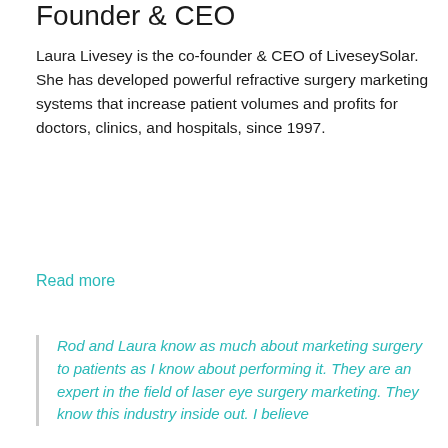Founder & CEO
Laura Livesey is the co-founder & CEO of LiveseySolar. She has developed powerful refractive surgery marketing systems that increase patient volumes and profits for doctors, clinics, and hospitals, since 1997.
Read more
Rod and Laura know as much about marketing surgery to patients as I know about performing it. They are an expert in the field of laser eye surgery marketing. They know this industry inside out. I believe